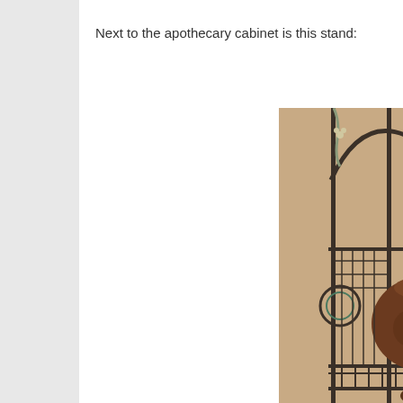Next to the apothecary cabinet is this stand:
[Figure (photo): Photo of a decorative wrought iron stand with scrollwork at the top, multiple shelves, and a round brown ceramic pot/vessel sitting on one of the shelves, against a tan/beige wall background.]